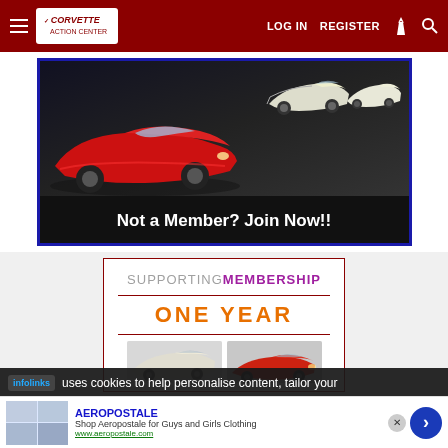Corvette Action Center — LOG IN  REGISTER
[Figure (photo): Banner showing multiple Corvette cars on dark background with text 'Not a Member? Join Now!!']
[Figure (infographic): Supporting Membership One Year promotional box with two Corvette car images]
infolinks uses cookies to help personalise content, tailor your
AEROPOSTALE Shop Aeropostale for Guys and Girls Clothing www.aeropostale.com